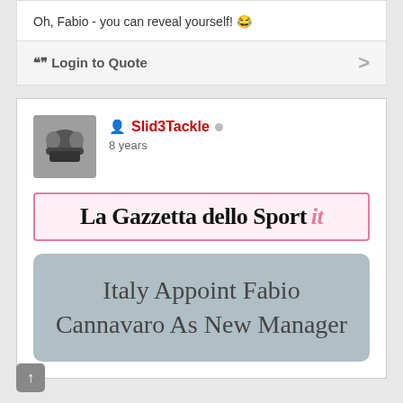Oh, Fabio - you can reveal yourself! 😂
❝❞ Login to Quote
[Figure (photo): User avatar thumbnail showing a helmet/gear image for user Slid3Tackle]
Slid3Tackle · 8 years
[Figure (logo): La Gazzetta dello Sport .it logo in pink-bordered box]
Italy Appoint Fabio Cannavaro As New Manager